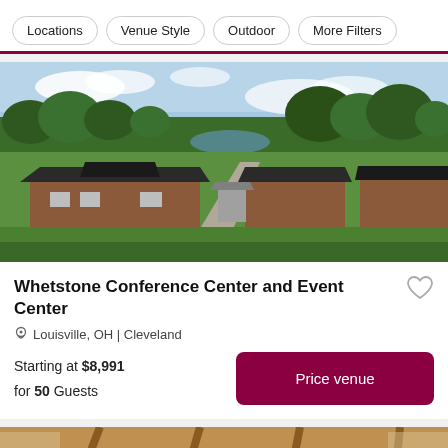Locations | Venue Style | Outdoor | More Filters
[Figure (photo): Aerial view of Whetstone Conference Center and Event Center showing brick buildings with dark roofs surrounded by green lawns and trees, with a pond visible in the background]
Whetstone Conference Center and Event Center
Louisville, OH | Cleveland
Starting at $8,991
for 50 Guests
[Figure (photo): Interior photo of a barn-style venue with wooden ceiling beams and warm lighting]